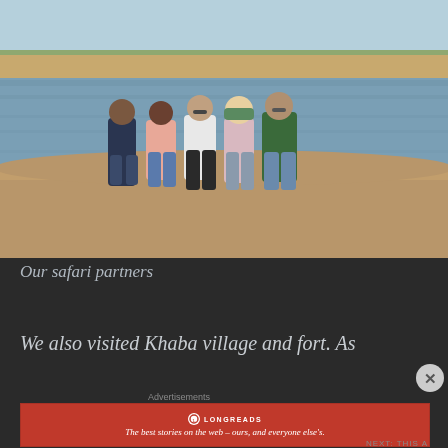[Figure (photo): Five people standing together near a lake or river in a desert landscape with sandy shores and sparse trees in the background. The group is posing for the photo outdoors in daylight.]
Our safari partners
We also visited Khaba village and fort. As
Advertisements
[Figure (other): Longreads advertisement banner in red. Logo at top center reads 'LONGREADS'. Tagline: 'The best stories on the web – ours, and everyone else's.']